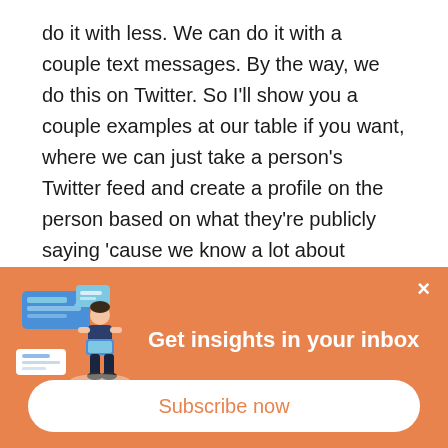do it with less. We can do it with a couple text messages. By the way, we do this on Twitter. So I'll show you a couple examples at our table if you want, where we can just take a person's Twitter feed and create a profile on the person based on what they're publicly saying 'cause we know a lot about Bradley now. We know how to target our presentations to him. We know how to upsell him. We know how to resolve conflict and deescalate problems, and we know how to negotiate against him without losing
[Figure (illustration): Popup banner with orange background showing a person standing next to floating UI elements/messages, with the text 'Get insights in your inbox' and a 'Subscribe now' button. A close (x) button is in the top right corner.]